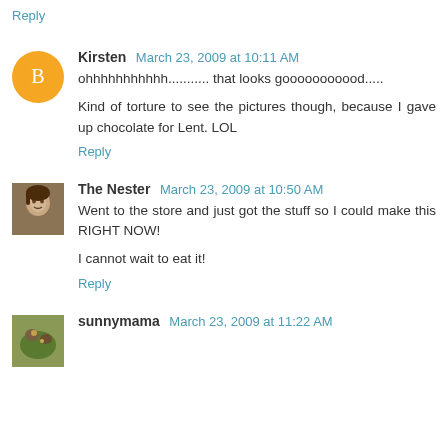Reply
Kirsten March 23, 2009 at 10:11 AM
ohhhhhhhhhhh........... that looks gooooooooood.....
Kind of torture to see the pictures though, because I gave up chocolate for Lent. LOL
Reply
The Nester March 23, 2009 at 10:50 AM
Went to the store and just got the stuff so I could make this RIGHT NOW!
I cannot wait to eat it!
Reply
sunnymama March 23, 2009 at 11:22 AM